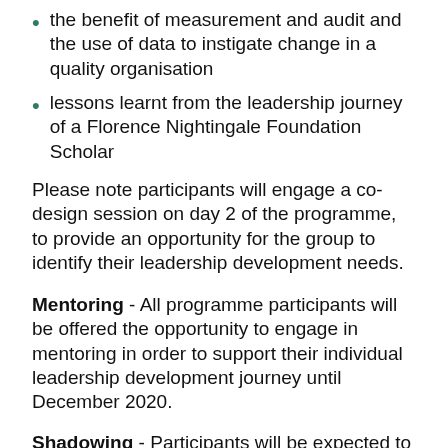the benefit of measurement and audit and the use of data to instigate change in a quality organisation
lessons learnt from the leadership journey of a Florence Nightingale Foundation Scholar
Please note participants will engage a co-design session on day 2 of the programme, to provide an opportunity for the group to identify their leadership development needs.
Mentoring - All programme participants will be offered the opportunity to engage in mentoring in order to support their individual leadership development journey until December 2020.
Shadowing - Participants will be expected to shadow